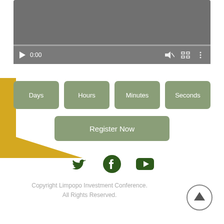[Figure (screenshot): Video player controls showing play button, 0:00 timestamp, volume icon, fullscreen icon, and more options icon on a gray background with progress bar]
[Figure (infographic): Countdown timer with four sage-green boxes labeled Days, Hours, Minutes, Seconds, with a Register Now button below, and a gold decorative shape on the left]
[Figure (infographic): Social media icons: Twitter bird, Facebook circle, YouTube play button — all in dark green]
Copyright Limpopo Investment Conference. All Rights Reserved.